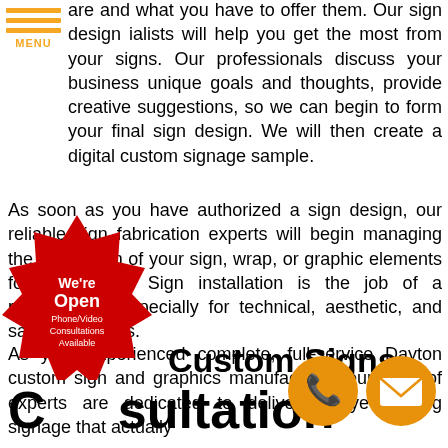MENU
are and what you have to offer them. Our sign design ialists will help you get the most from your signs. Our professionals discuss your business unique goals and thoughts, provide creative suggestions, so we can begin to form your final sign design. We will then create a digital custom signage sample.
As soon as you have authorized a sign design, our reliable sign fabrication experts will begin managing the production of your sign, wrap, or graphic elements for installation. Sign installation is the job of a professional, especially for technical, aesthetic, and safety purposes.
As your experienced complete, full-service Dayton custom sign and graphics manufacturer, our crew of experts are dedicated to delivering eye-catching signage that actually
[Figure (illustration): Red starburst badge with text 'We're Open Phone/Video Consultations Available']
Custom Signs
Consultation
[Figure (illustration): Orange circular phone icon]
[Figure (illustration): Orange circular email/envelope icon]